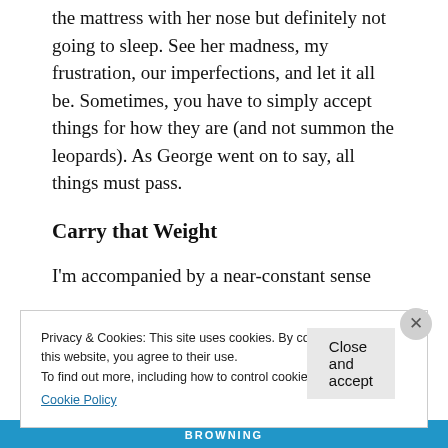the mattress with her nose but definitely not going to sleep. See her madness, my frustration, our imperfections, and let it all be. Sometimes, you have to simply accept things for how they are (and not summon the leopards). As George went on to say, all things must pass.
Carry that Weight
I'm accompanied by a near-constant sense
Privacy & Cookies: This site uses cookies. By continuing to use this website, you agree to their use.
To find out more, including how to control cookies, see here:
Cookie Policy
Close and accept